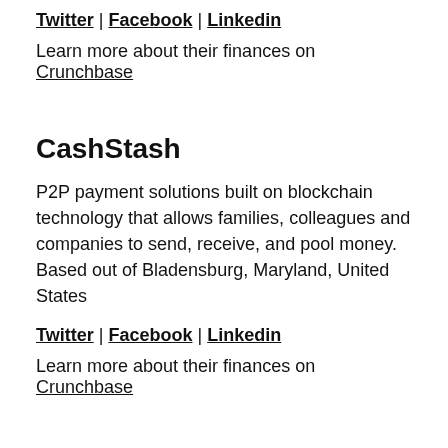Twitter | Facebook | Linkedin
Learn more about their finances on Crunchbase
CashStash
P2P payment solutions built on blockchain technology that allows families, colleagues and companies to send, receive, and pool money. Based out of Bladensburg, Maryland, United States
Twitter | Facebook | Linkedin
Learn more about their finances on Crunchbase
BailRep